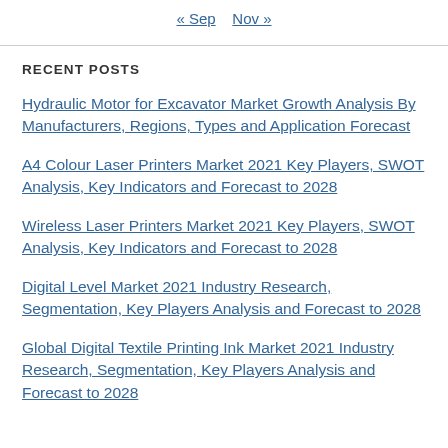« Sep   Nov »
RECENT POSTS
Hydraulic Motor for Excavator Market Growth Analysis By Manufacturers, Regions, Types and Application Forecast
A4 Colour Laser Printers Market 2021 Key Players, SWOT Analysis, Key Indicators and Forecast to 2028
Wireless Laser Printers Market 2021 Key Players, SWOT Analysis, Key Indicators and Forecast to 2028
Digital Level Market 2021 Industry Research, Segmentation, Key Players Analysis and Forecast to 2028
Global Digital Textile Printing Ink Market 2021 Industry Research, Segmentation, Key Players Analysis and Forecast to 2028